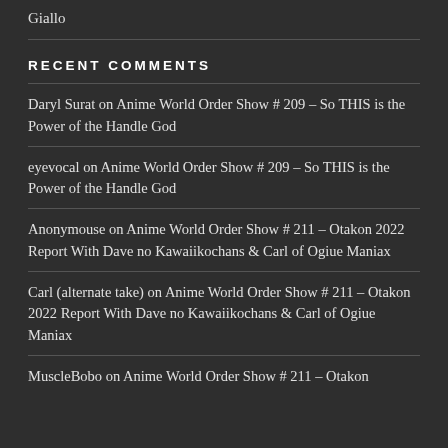Giallo
RECENT COMMENTS
Daryl Surat on Anime World Order Show # 209 – So THIS is the Power of the Handle God
eyevocal on Anime World Order Show # 209 – So THIS is the Power of the Handle God
Anonymouse on Anime World Order Show # 211 – Otakon 2022 Report With Dave no Kawaiikochans & Carl of Ogiue Maniax
Carl (alternate take) on Anime World Order Show # 211 – Otakon 2022 Report With Dave no Kawaiikochans & Carl of Ogiue Maniax
MuscleBobo on Anime World Order Show # 211 – Otakon